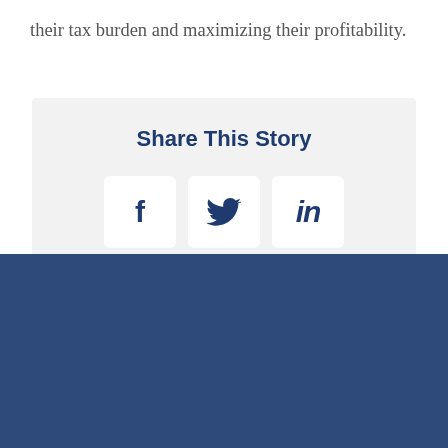their tax burden and maximizing their profitability.
[Figure (infographic): Share This Story social sharing box with Facebook, Twitter, and LinkedIn icon buttons on a light grey background]
[Figure (other): Dark navy blue footer block]